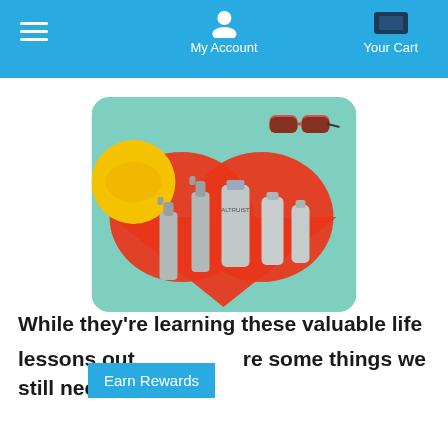My Account  Your Cart
[Figure (photo): Flat lay of Altruist skincare products (spray bottles and tubes) on a teal surface with a red heart shape, yellow hat, and orange sunglasses]
While they're learning these valuable life lessons out... re some things we still need to
Earn Rewards